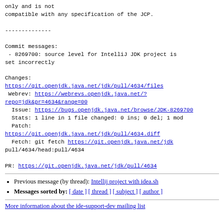only and is not
compatible with any specification of the JCP.

--------------

Commit messages:
 - 8269700: source level for IntelliJ JDK project is set incorrectly

Changes:
https://git.openjdk.java.net/jdk/pull/4634/files
 Webrev: https://webrevs.openjdk.java.net/?repo=jdk&pr=4634&range=00
  Issue: https://bugs.openjdk.java.net/browse/JDK-8269700
  Stats: 1 line in 1 file changed: 0 ins; 0 del; 1 mod
  Patch:
https://git.openjdk.java.net/jdk/pull/4634.diff
  Fetch: git fetch https://git.openjdk.java.net/jdk pull/4634/head:pull/4634

PR: https://git.openjdk.java.net/jdk/pull/4634
Previous message (by thread): Intellij project with idea.sh
Messages sorted by: [ date ] [ thread ] [ subject ] [ author ]
More information about the ide-support-dev mailing list